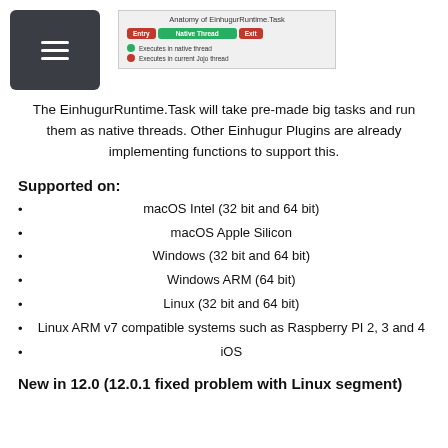[Figure (illustration): Hamburger menu icon (three horizontal white lines) on dark background, and a diagram titled 'Anatomy of EinhugurRuntime.Task' showing Entry (red pill), Native Thread (green pill), Exit (red pill) flow, with legend: green dot = Executes in native thread, red dot = Executes in current Jojo thread]
The EinhugurRuntime.Task will take pre-made big tasks and run them as native threads. Other Einhugur Plugins are already implementing functions to support this.
Supported on:
macOS Intel (32 bit and 64 bit)
macOS Apple Silicon
Windows (32 bit and 64 bit)
Windows ARM (64 bit)
Linux (32 bit and 64 bit)
Linux ARM v7 compatible systems such as Raspberry PI 2, 3 and 4
iOS
New in 12.0 (12.0.1 fixed problem with Linux segment)